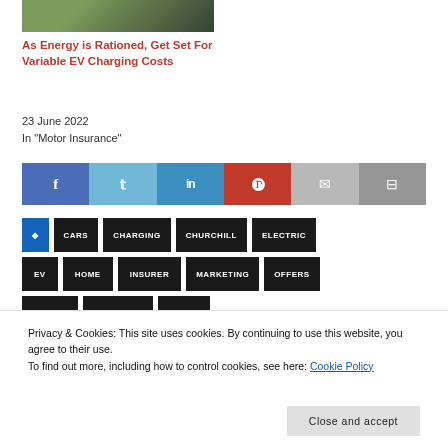[Figure (photo): Partial image of an EV charging sign/station, cropped at top]
As Energy is Rationed, Get Set For Variable EV Charging Costs
23 June 2022
In "Motor Insurance"
[Figure (infographic): Social share bar with Facebook, Twitter, LinkedIn, Pinterest, Email, and Print buttons]
CARS
CHARGING
CHURCHILL
ELECTRIC
EV
HOME
INSURER
MARKETING
OFFERS
Privacy & Cookies: This site uses cookies. By continuing to use this website, you agree to their use.
To find out more, including how to control cookies, see here: Cookie Policy
Close and accept